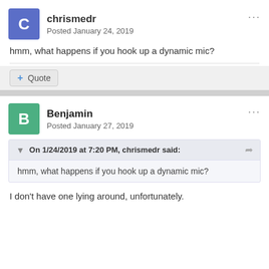chrismedr
Posted January 24, 2019
hmm, what happens if you hook up a dynamic mic?
+ Quote
Benjamin
Posted January 27, 2019
On 1/24/2019 at 7:20 PM, chrismedr said:
hmm, what happens if you hook up a dynamic mic?
I don't have one lying around, unfortunately.